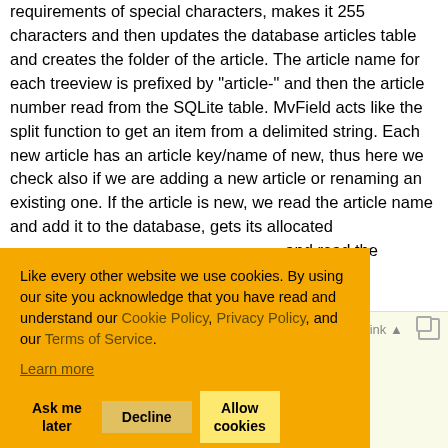requirements of special characters, makes it 255 characters and then updates the database articles table and creates the folder of the article. The article name for each treeview is prefixed by "article-" and then the article number read from the SQLite table. MvField acts like the split function to get an item from a delimited string. Each new article has an article key/name of new, thus here we check also if we are adding a new article or renaming an existing one. If the article is new, we read the article name and add it to the database, gets its allocated and read the everything
[Figure (screenshot): Cookie consent banner with orange background containing text about cookie policy and three buttons: Ask me later, Decline, Allow cookies]
Shrink ▲ [copy icon]
code block showing treeNode, ID, linked links, newNode.Nodes.Add( Zips & ID, "Zip ..."